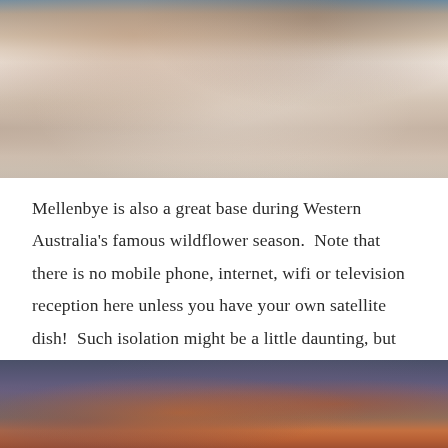[Figure (photo): Aerial or ground-level view of white salt lake or rocky salt formations in outback Western Australia, with red-orange rocky outcrops visible in the background under a blue sky.]
Mellenbye is also a great base during Western Australia's famous wildflower season.  Note that there is no mobile phone, internet, wifi or television reception here unless you have your own satellite dish!  Such isolation might be a little daunting, but trust me, you'll enjoy it!
[Figure (photo): Dramatic sunset or storm sky photograph showing orange and red clouds against a deep blue-purple sky, typical of outback Western Australia.]